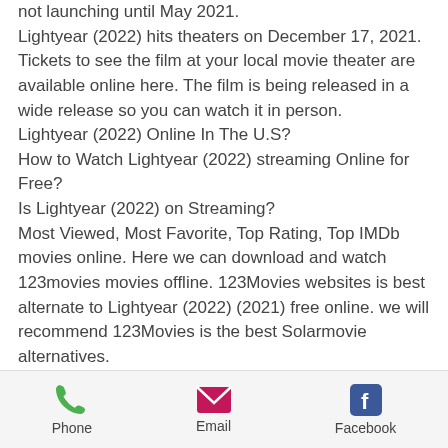not launching until May 2021. Lightyear (2022) hits theaters on December 17, 2021. Tickets to see the film at your local movie theater are available online here. The film is being released in a wide release so you can watch it in person. Lightyear (2022) Online In The U.S? How to Watch Lightyear (2022) streaming Online for Free? Is Lightyear (2022) on Streaming? Most Viewed, Most Favorite, Top Rating, Top IMDb movies online. Here we can download and watch 123movies movies offline. 123Movies websites is best alternate to Lightyear (2022) (2021) free online. we will recommend 123Movies is the best Solarmovie alternatives. you'll want to make sure you're one of the first...
Phone | Email | Facebook